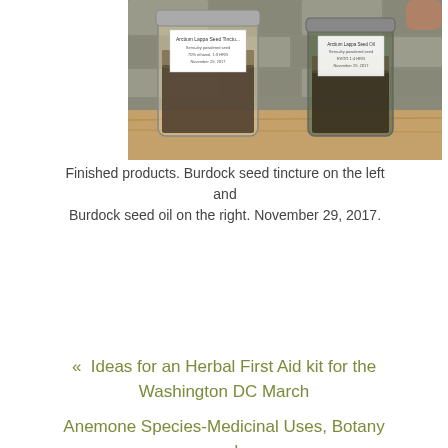[Figure (photo): Two glass jars on a wooden surface against a stone wall background. Left jar is larger and labeled 'Arctium Lappa Seed Tincture, Semi-dry powdered seed, 70% ethanol, 1:3 HRG, November 29, 2017'. Right jar is smaller and labeled 'Arctium Lappa Seed Oil, Semi-dry powdered seed, EVOO 1:4 HRG, November 29, 2017'. Both contain dark granular seed material.]
Finished products. Burdock seed tincture on the left and Burdock seed oil on the right. November 29, 2017.
« Ideas for an Herbal First Aid kit for the Washington DC March
Anemone Species-Medicinal Uses, Botany and